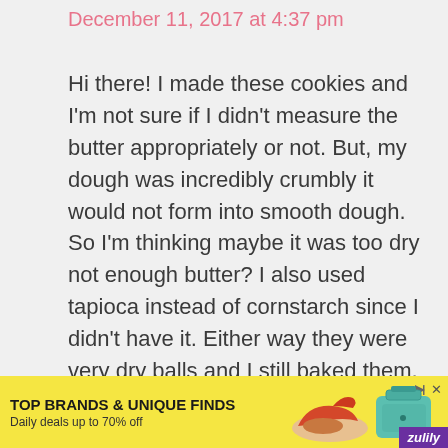December 11, 2017 at 4:37 pm
Hi there! I made these cookies and I'm not sure if I didn't measure the butter appropriately or not. But, my dough was incredibly crumbly it would not form into smooth dough. So I'm thinking maybe it was too dry not enough butter? I also used tapioca instead of cornstarch since I didn't have it. Either way they were very dry balls and I still baked them, tasted good anyway! Just wish it was easier to
[Figure (infographic): Advertisement banner for Zulily. Yellow background with text 'TOP BRANDS & UNIQUE FINDS' and 'Daily deals up to 70% off'. Shows images of shoes and a teal handbag. Zulily logo in purple at bottom right. Ad control icons at top right.]